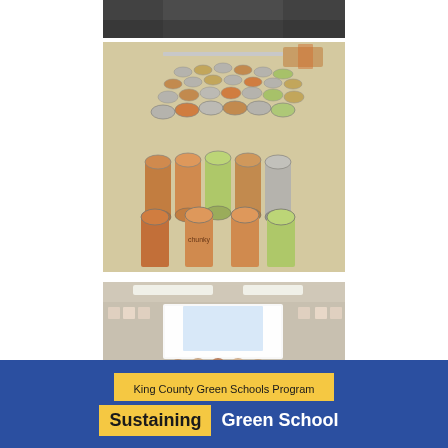[Figure (photo): Partial photo at top, cropped — dark background, likely students or school activity]
[Figure (photo): Photo of many canned food items arranged on a table, viewed from above — a food drive collection]
[Figure (photo): Group photo of students and teacher in a classroom setting, posing together in front of a whiteboard]
King County Green Schools Program
Sustaining  Green School